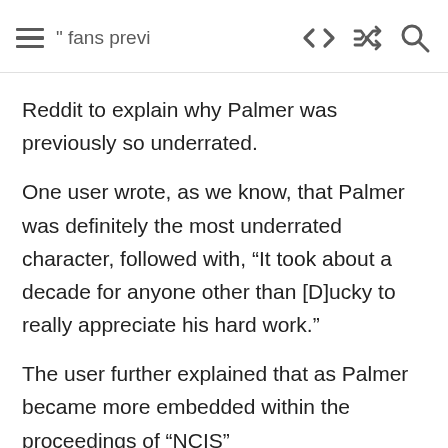fans previously so...
Reddit to explain why Palmer was previously so underrated.
One user wrote, as we know, that Palmer was definitely the most underrated character, followed with, “It took about a decade for anyone other than [D]ucky to really appreciate his hard work.”
The user further explained that as Palmer became more embedded within the proceedings of “NCIS”